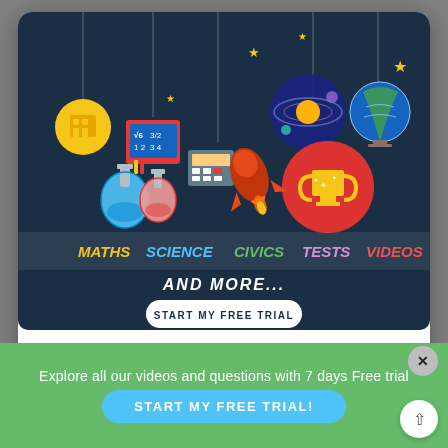[Figure (screenshot): Educational platform popup modal with dark blue banner showing hanging education icons (globe, solar system, trophy, flask, math board, calculator), subject labels (MATHS, SCIENCE, CIVICS, TESTS, VIDEOS), AND MORE... text, and START MY FREE TRIAL button. Below is a No Thanks link.]
No Thanks
Explore all our videos and questions with 7 days Free trial
START MY FREE TRIAL!